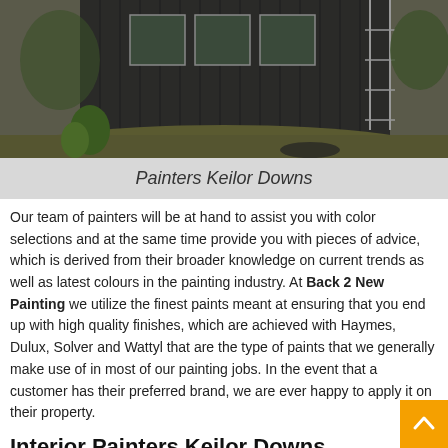[Figure (photo): Exterior of a dark-painted corrugated metal building with windows and scaffolding visible, surrounded by garden plants and gravel.]
Painters Keilor Downs
Our team of painters will be at hand to assist you with color selections and at the same time provide you with pieces of advice, which is derived from their broader knowledge on current trends as well as latest colours in the painting industry. At Back 2 New Painting we utilize the finest paints meant at ensuring that you end up with high quality finishes, which are achieved with Haymes, Dulux, Solver and Wattyl that are the type of paints that we generally make use of in most of our painting jobs. In the event that a customer has their preferred brand, we are ever happy to apply it on their property.
Interior Painters Keilor Downs
Every homeowner needs to refresh the looks of their home, the